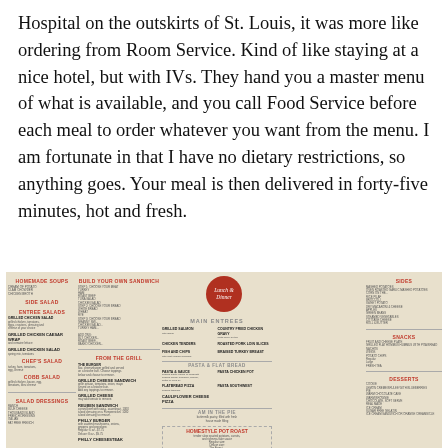Hospital on the outskirts of St. Louis, it was more like ordering from Room Service. Kind of like staying at a nice hotel, but with IVs. They hand you a master menu of what is available, and you call Food Service before each meal to order whatever you want from the menu. I am fortunate in that I have no dietary restrictions, so anything goes. Your meal is then delivered in forty-five minutes, hot and fresh.
[Figure (photo): A hospital room service lunch and dinner menu showing multiple sections: Homemade Soups, Side Salad, Entree Salads, Build Your Own Sandwich, From the Grill, Main Entrees, Pasta & Flat Bread, Am In The Pie, Homestyle Pot Roast, Sides, Snacks, and Desserts. There is a red circular logo in the center reading 'Lunch & Dinner'.]